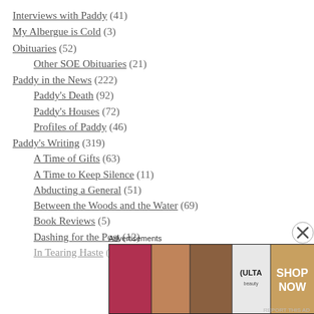Interviews with Paddy (41)
My Albergue is Cold (3)
Obituaries (52)
Other SOE Obituaries (21)
Paddy in the News (222)
Paddy's Death (92)
Paddy's Houses (72)
Profiles of Paddy (46)
Paddy's Writing (319)
A Time of Gifts (63)
A Time to Keep Silence (11)
Abducting a General (51)
Between the Woods and the Water (69)
Book Reviews (5)
Dashing for the Post (12)
In Tearing Haste (20)
Advertisements
[Figure (photo): Ulta Beauty advertisement banner showing makeup and beauty products with SHOP NOW call to action]